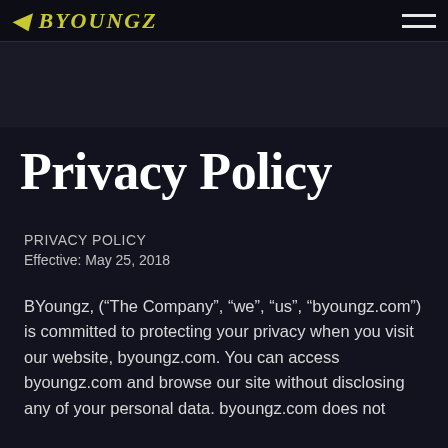BYOUNGZ
Privacy Policy
PRIVACY POLICY
Effective: May 25, 2018
BYoungz, (“The Company”, “we”, “us”, “byoungz.com”) is committed to protecting your privacy when you visit our website, byoungz.com. You can access byoungz.com and browse our site without disclosing any of your personal data. byoungz.com does not